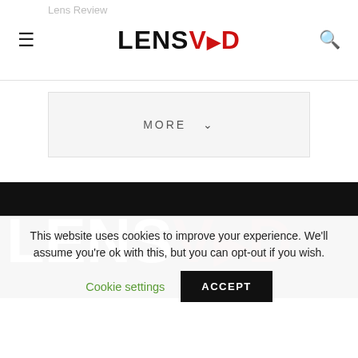Lens Review
[Figure (logo): LensVid logo in header — bold black LENS with red VID and arrow symbol]
[Figure (other): Hamburger menu icon (three horizontal lines)]
[Figure (other): Search (magnifying glass) icon]
MORE ⌄
[Figure (logo): Large LensVid logo on black background — white LENS text followed by dark red VID with arrow symbol]
This website uses cookies to improve your experience. We'll assume you're ok with this, but you can opt-out if you wish.
Cookie settings
ACCEPT